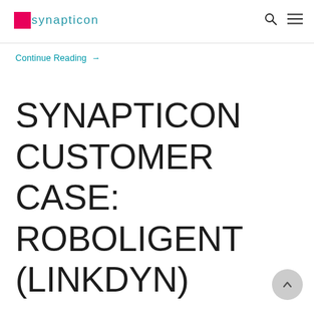[Figure (logo): Synapticon logo: pink/red square followed by 'synapticon' text in teal]
Continue Reading →
SYNAPTICON CUSTOMER CASE: ROBOLIGENT (LINKDYN)